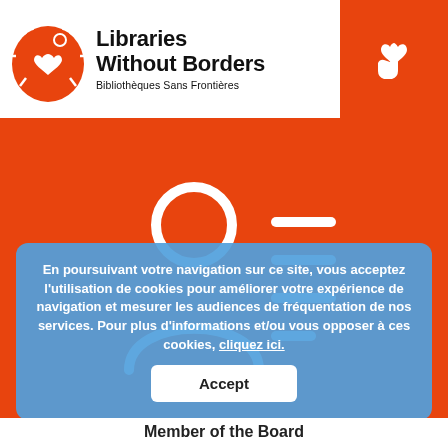[Figure (logo): Libraries Without Borders / Bibliothèques Sans Frontières logo with orange circular icon featuring a heart and radiating lines]
Libraries Without Borders
Bibliothèques Sans Frontières
[Figure (illustration): White person-with-lines (contact/profile) icon on orange background, representing a member profile]
En poursuivant votre navigation sur ce site, vous acceptez l'utilisation de cookies pour améliorer votre expérience de navigation et mesurer les audiences de fréquentation de nos services. Pour plus d'informations et/ou vous opposer à ces cookies, cliquez ici.
Accept
Member of the Board